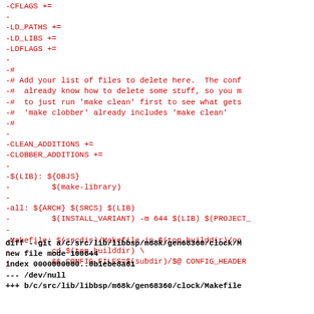-CFLAGS +=
-
-LD_PATHS +=
-LD_LIBS +=
-LDFLAGS +=
-
-#
-# Add your list of files to delete here.  The conf
-#  already know how to delete some stuff, so you m
-#  to just run 'make clean' first to see what gets
-#  'make clobber' already includes 'make clean'
-#
-
-CLEAN_ADDITIONS +=
-CLOBBER_ADDITIONS +=
-
-$(LIB): ${OBJS}
-         $(make-library)
-
-all: ${ARCH} $(SRCS) $(LIB)
-         $(INSTALL_VARIANT) -m 644 $(LIB) $(PROJECT_
-
-Makefile: $(srcdir)/Makefile.in $(top_builddir)/co
-         cd $(top_builddir) \
-         && CONFIG_FILES=$(subdir)/$@ CONFIG_HEADER
diff --git a/c/src/lib/libbsp/m68k/gen68360/clock/M
new file mode 100644
index 0000000000..0b1ebe8a61
--- /dev/null
+++ b/c/src/lib/libbsp/m68k/gen68360/clock/Makefile